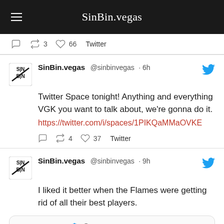SinBin.vegas
3 retweets, 66 likes, Twitter
SinBin.vegas @sinbinvegas · 6h — Twitter Space tonight! Anything and everything VGK you want to talk about, we're gonna do it. https://twitter.com/i/spaces/1PIKQaMMaOVKE — 4 retweets, 37 likes, Twitter
SinBin.vegas @sinbinvegas · 9h — I liked it better when the Flames were getting rid of all their best players.
Darren Dreger @DarrenDreger — Kadri deal to the Flames is being finalized. 7